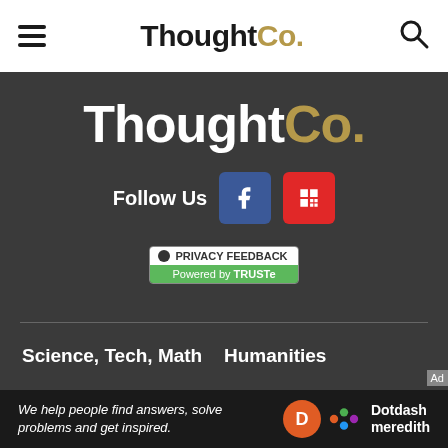ThoughtCo.
[Figure (logo): ThoughtCo. logo large white on dark background]
Follow Us
[Figure (infographic): Privacy Feedback badge powered by TRUSTe]
Science, Tech, Math
Humanities
Languages
Resources
About Us
Advertise
We help people find answers, solve problems and get inspired. Dotdash meredith